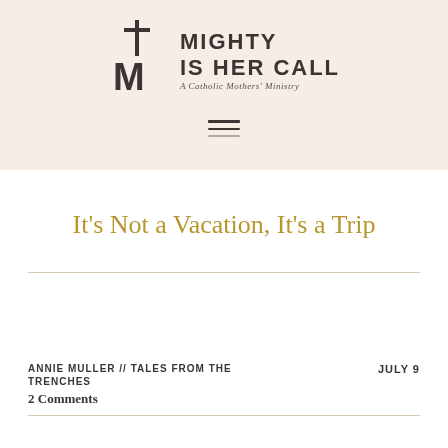[Figure (logo): Mighty Is Her Call logo with cross and M monogram icon, text reads MIGHTY IS HER CALL, A Catholic Mothers' Ministry]
[Figure (other): Hamburger menu icon with three horizontal lines]
It’s Not a Vacation, It’s a Trip
ANNIE MULLER // TALES FROM THE TRENCHES
JULY 9
2 Comments